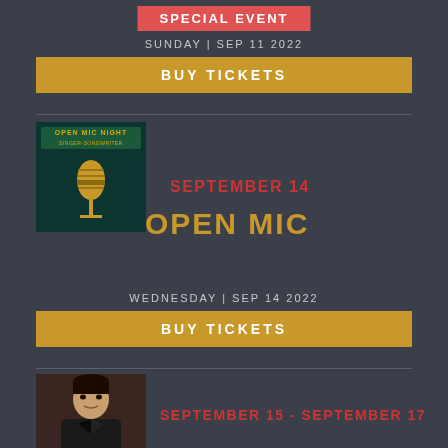SPECIAL EVENT
SUNDAY | SEP 11 2022
BUY TICKETS
[Figure (illustration): Open Mic Night promotional image with gold microphone on dark teal background]
SEPTEMBER 14
OPEN MIC
WEDNESDAY | SEP 14 2022
BUY TICKETS
[Figure (photo): Photo of a person in dark clothing against a dark background]
SEPTEMBER 15 - SEPTEMBER 17